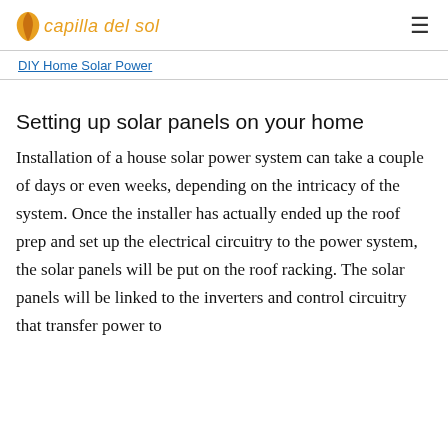capilla del sol
DIY Home Solar Power
Setting up solar panels on your home
Installation of a house solar power system can take a couple of days or even weeks, depending on the intricacy of the system. Once the installer has actually ended up the roof prep and set up the electrical circuitry to the power system, the solar panels will be put on the roof racking. The solar panels will be linked to the inverters and control circuitry that transfer power to...